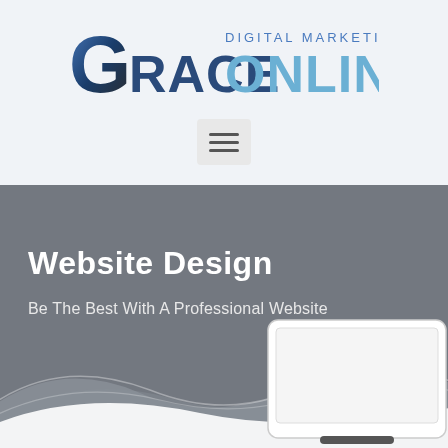[Figure (logo): Grace Online Digital Marketing logo with large stylized G and text GRACE ONLINE with DIGITAL MARKETING above]
[Figure (other): Hamburger menu icon (three horizontal lines) on a light grey button]
Website Design
Be The Best With A Professional Website
[Figure (illustration): Abstract white wave shapes and a monitor/desktop computer outline illustration on grey background]